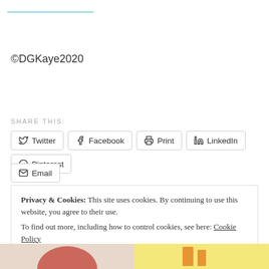[link at top - partially visible]
©DGKaye2020
SHARE THIS:
Twitter
Facebook
Print
LinkedIn
Pinterest
Email
Privacy & Cookies: This site uses cookies. By continuing to use this website, you agree to their use.
To find out more, including how to control cookies, see here: Cookie Policy
Close and accept